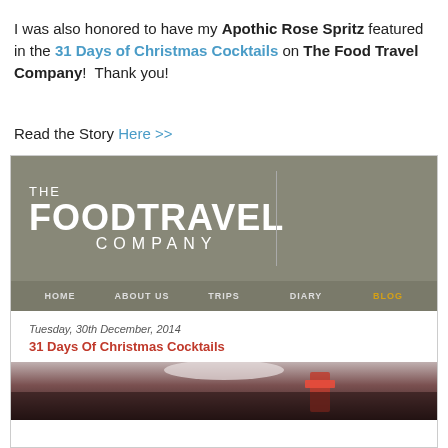I was also honored to have my Apothic Rose Spritz featured in the 31 Days of Christmas Cocktails on The Food Travel Company!  Thank you!
Read the Story Here >>
[Figure (screenshot): Screenshot of The Food Travel Company website showing the header with logo, navigation bar (HOME, ABOUT US, TRIPS, DIARY, BLOG), a blog post dated Tuesday, 30th December, 2014 titled '31 Days Of Christmas Cocktails', and a partial cocktail image below.]